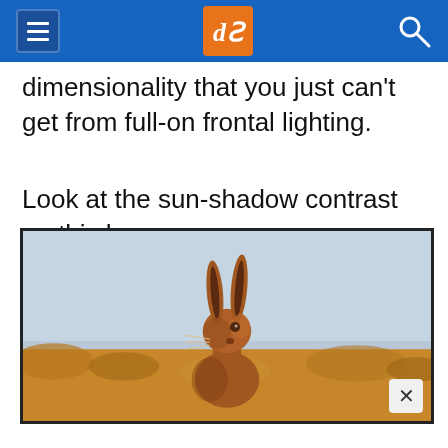dPS (digital Photography School) navigation bar
dimensionality that you just can't get from full-on frontal lighting.
Look at the sun-shadow contrast on this hare:
[Figure (photo): A hare (rabbit) photographed outdoors against a pale blue-grey sky background, with golden/brown dried grass in the foreground. The hare is centered in the frame, facing forward with ears upright, showing warm brown fur with visible sun-shadow contrast on its body.]